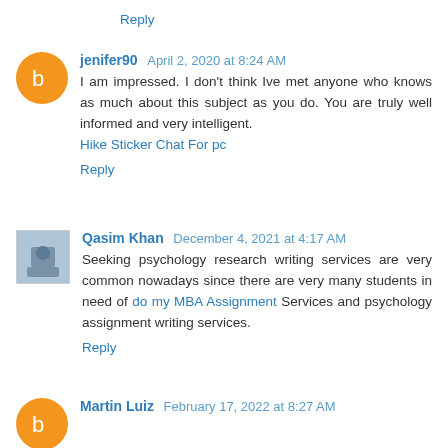Reply
jenifer90  April 2, 2020 at 8:24 AM
I am impressed. I don't think Ive met anyone who knows as much about this subject as you do. You are truly well informed and very intelligent. Hike Sticker Chat For pc
Reply
Qasim Khan  December 4, 2021 at 4:17 AM
Seeking psychology research writing services are very common nowadays since there are very many students in need of do my MBA Assignment Services and psychology assignment writing services.
Reply
Martin Luiz  February 17, 2022 at 8:27 AM